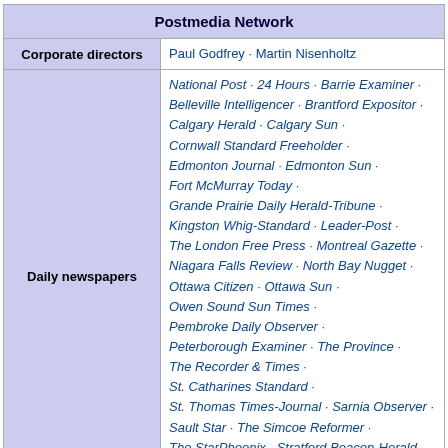| Postmedia Network |
| --- |
| Corporate directors | Paul Godfrey · Martin Nisenholtz |
| Daily newspapers | National Post · 24 Hours · Barrie Examiner · Belleville Intelligencer · Brantford Expositor · Calgary Herald · Calgary Sun · Cornwall Standard Freeholder · Edmonton Journal · Edmonton Sun · Fort McMurray Today · Grande Prairie Daily Herald-Tribune · Kingston Whig-Standard · Leader-Post · The London Free Press · Montreal Gazette · Niagara Falls Review · North Bay Nugget · Ottawa Citizen · Ottawa Sun · Owen Sound Sun Times · Pembroke Daily Observer · Peterborough Examiner · The Province · The Recorder & Times · St. Catharines Standard · St. Thomas Times-Journal · Sarnia Observer · Sault Star · The Simcoe Reformer · The StarPhoenix · Stratford Beacon-Herald · Sudbury Star · Timmins Daily Press · |